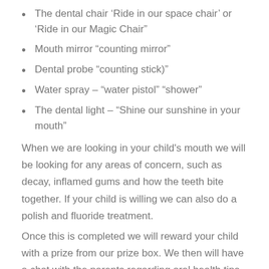The dental chair ‘Ride in our space chair’ or ‘Ride in our Magic Chair”
Mouth mirror “counting mirror”
Dental probe “counting stick)”
Water spray – “water pistol” “shower”
The dental light – “Shine our sunshine in your mouth”
When we are looking in your child's mouth we will be looking for any areas of concern, such as decay, inflamed gums and how the teeth bite together. If your child is willing we can also do a polish and fluoride treatment.
Once this is completed we will reward your child with a prize from our prize box. We then will have a chat with the parents regarding oral health tips including brushing, flossing, and diet.
If there are any areas of concern the Oral Health Therapist will